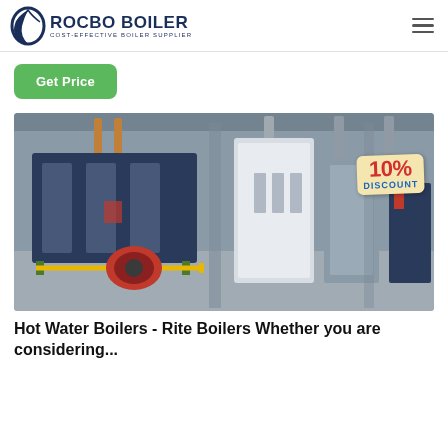ROCBO BOILER COST-EFFECTIVE BOILER SUPPLIER
Get Price
[Figure (photo): Industrial hot water boilers in a factory setting. Multiple large boilers visible including a dark blue/grey boiler with red burner in foreground, white/grey boilers in background. A 10% DISCOUNT badge overlay on top right.]
Hot Water Boilers - Rite Boilers Whether you are considering...